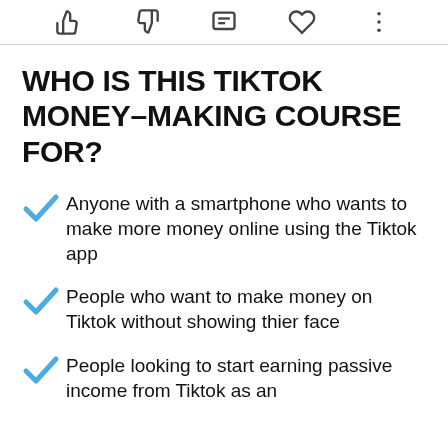[icons: thumbs-up, thumbs-down, comment, heart, more]
WHO IS THIS TIKTOK MONEY-MAKING COURSE FOR?
Anyone with a smartphone who wants to make more money online using the Tiktok app
People who want to make money on Tiktok without showing thier face
People looking to start earning passive income from Tiktok as an